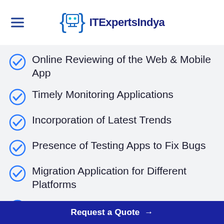ITExpertsIndya
Online Reviewing of the Web & Mobile App
Timely Monitoring Applications
Incorporation of Latest Trends
Presence of Testing Apps to Fix Bugs
Migration Application for Different Platforms
Prompt Response to All Queries
Request a Quote →